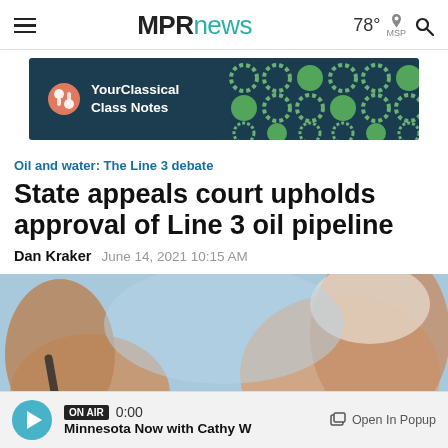MPRnews  78° MSP
[Figure (photo): YourClassical Class Notes advertisement banner with dark teal background and decorative green circular pattern]
Oil and water: The Line 3 debate
State appeals court upholds approval of Line 3 oil pipeline
Dan Kraker  June 14, 2021 10:15 AM
[Figure (photo): Close-up photograph of two people's arms, appearing to be outdoors with a light blue sky in background]
ON AIR  0:00  Minnesota Now with Cathy W  Open In Popup